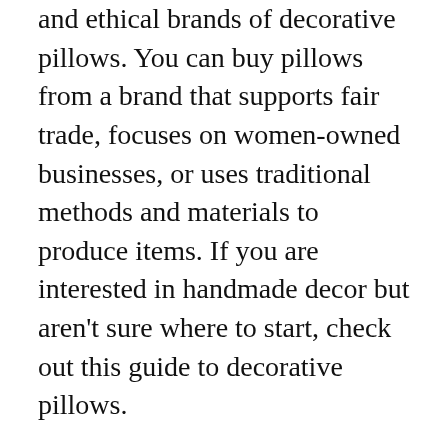and ethical brands of decorative pillows. You can buy pillows from a brand that supports fair trade, focuses on women-owned businesses, or uses traditional methods and materials to produce items. If you are interested in handmade decor but aren't sure where to start, check out this guide to decorative pillows.
Decorative pillows can also be used to dress up your bed or couch. You can buy pillows with printed patterns and add embellishments by hand sewing them. You can also make your decorative pillows by sewing or knitting patterns. Decorative pillows are a great way to personalize your home. You can make them fit any decor and add a personal touch. There are also many patterns and tutorials online that can help you create unique